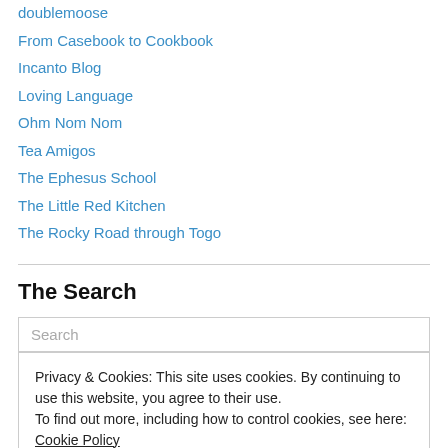doublemoose
From Casebook to Cookbook
Incanto Blog
Loving Language
Ohm Nom Nom
Tea Amigos
The Ephesus School
The Little Red Kitchen
The Rocky Road through Togo
The Search
Privacy & Cookies: This site uses cookies. By continuing to use this website, you agree to their use.
To find out more, including how to control cookies, see here: Cookie Policy
Close and accept
November 2016